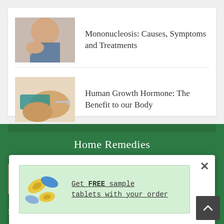[Figure (photo): Person touching their throat/neck area - mono photo]
Mononucleosis: Causes, Symptoms and Treatments
[Figure (photo): Person receiving an injection in the arm]
Human Growth Hormone: The Benefit to our Body
Home Remedies
[Figure (photo): Arm/skin photo related to rash]
Rash Home Remedies 101
[Figure (photo): Colored pills/tablets - advertisement image]
Get FREE sample tablets with your order
Stretch Marks